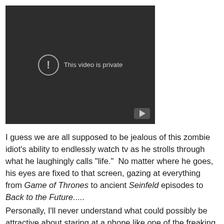[Figure (screenshot): YouTube video embed showing 'This video is private' message with exclamation icon circle and YouTube play button logo in bottom right corner, dark background.]
I guess we are all supposed to be jealous of this zombie idiot's ability to endlessly watch tv as he strolls through what he laughingly calls "life."  No matter where he goes, his eyes are fixed to that screen, gazing at everything from Game of Thrones to ancient Seinfeld episodes to Back to the Future.....
Personally, I'll never understand what could possibly be attractive about staring at a phone like one of the freaking Walking Dead, clicking at the world as she comes around